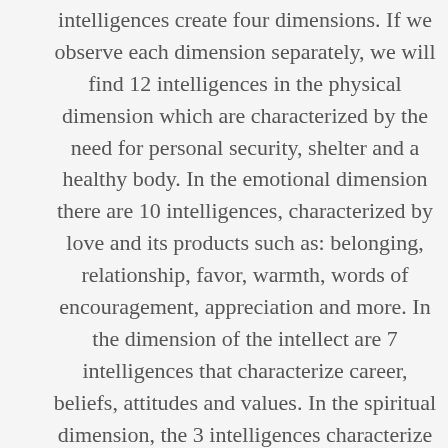intelligences create four dimensions. If we observe each dimension separately, we will find 12 intelligences in the physical dimension which are characterized by the need for personal security, shelter and a healthy body. In the emotional dimension there are 10 intelligences, characterized by love and its products such as: belonging, relationship, favor, warmth, words of encouragement, appreciation and more. In the dimension of the intellect are 7 intelligences that characterize career, beliefs, attitudes and values. In the spiritual dimension, the 3 intelligences characterize the capacity to give, free will, self-realization, designation, vision and purpose.